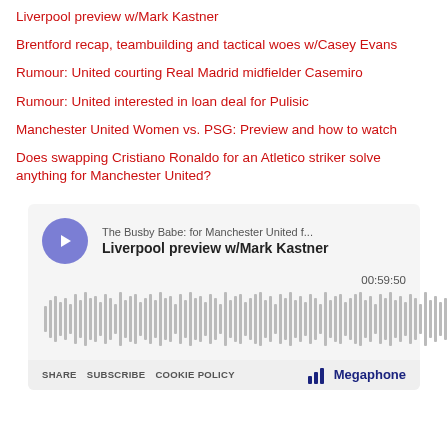Liverpool preview w/Mark Kastner
Brentford recap, teambuilding and tactical woes w/Casey Evans
Rumour: United courting Real Madrid midfielder Casemiro
Rumour: United interested in loan deal for Pulisic
Manchester United Women vs. PSG: Preview and how to watch
Does swapping Cristiano Ronaldo for an Atletico striker solve anything for Manchester United?
[Figure (other): Podcast player embed for 'Liverpool preview w/Mark Kastner' on The Busby Babe: for Manchester United f... podcast. Shows play button, audio waveform, duration 00:59:50, and footer with SHARE, SUBSCRIBE, COOKIE POLICY links and Megaphone logo.]